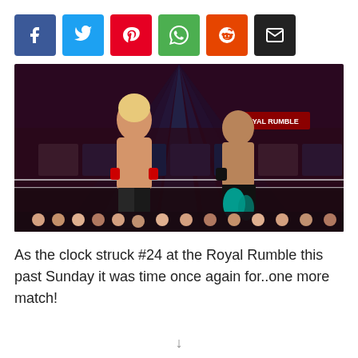[Figure (other): Social media share buttons: Facebook (blue), Twitter (cyan), Pinterest (red), WhatsApp (green), Reddit (orange), Email (black)]
[Figure (photo): Two WWE wrestlers facing each other in the ring during the Royal Rumble event, one with long blonde hair wearing red wrist tape and patterned trunks, the other shirtless in black pants with teal design, crowd visible in background with blue stage lighting and Royal Rumble banner]
As the clock struck #24 at the Royal Rumble this past Sunday it was time once again for..one more match!